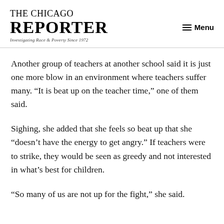THE CHICAGO REPORTER — Investigating Race & Poverty Since 1972 — Menu
Another group of teachers at another school said it is just one more blow in an environment where teachers suffer many. “It is beat up on the teacher time,” one of them said.
Sighing, she added that she feels so beat up that she “doesn’t have the energy to get angry.” If teachers were to strike, they would be seen as greedy and not interested in what’s best for children.
“So many of us are not up for the fight,” she said.